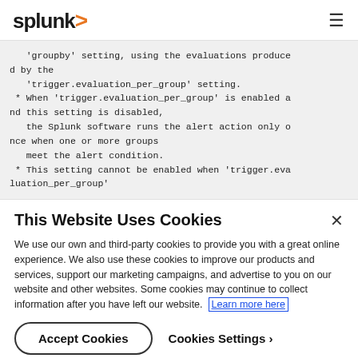splunk> ☰
'groupby' setting, using the evaluations produced by the
   'trigger.evaluation_per_group' setting.
 * When 'trigger.evaluation_per_group' is enabled and this setting is disabled,
   the Splunk software runs the alert action only once when one or more groups
   meet the alert condition.
 * This setting cannot be enabled when 'trigger.evaluation_per_group'
This Website Uses Cookies
We use our own and third-party cookies to provide you with a great online experience. We also use these cookies to improve our products and services, support our marketing campaigns, and advertise to you on our website and other websites. Some cookies may continue to collect information after you have left our website. Learn more here
Accept Cookies   Cookies Settings ›